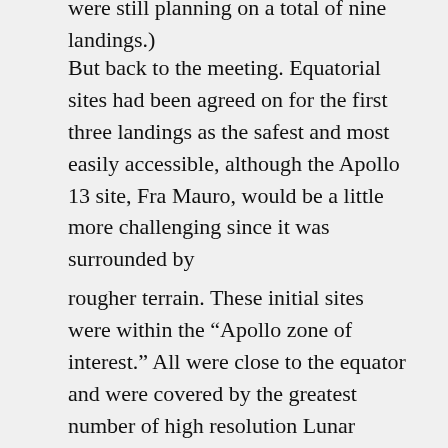were still planning on a total of nine landings.)
But back to the meeting. Equatorial sites had been agreed on for the first three landings as the safest and most easily accessible, although the Apollo 13 site, Fra Mauro, would be a little more challenging since it was surrounded by
rougher terrain. These initial sites were within the “Apollo zone of interest.” All were close to the equator and were covered by the greatest number of high resolution Lunar Orbiter photographs. Many uncertainties still existed in pre-dicting the performance of the total Apollo system, but Bellcomm had already completed an analysis of SIVB, LM, and CSM performance showing that a high percentage of the Moon’s nearside could be reached while maintaining the required safety margins.
As the meeting droned on and such things as communication restrictions and propulsion budgets and margins were discussed, it became apparent that MSC management was going to take a conservative stand. Those of us who had been